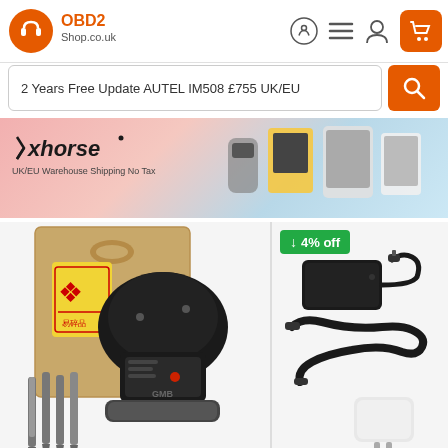[Figure (logo): OBD2 Shop.co.uk logo with headset icon in orange circle]
2 Years Free Update AUTEL IM508 £755 UK/EU
[Figure (photo): Xhorse banner with logo, tagline 'UK/EU Warehouse Shipping No Tax' and product images]
[Figure (photo): Key cutting machine product image with packaging bag, drill bits, and GMB key cutting device on stand]
[Figure (photo): Product accessories showing power adapter, cable, and USB charger with 4% off discount badge]